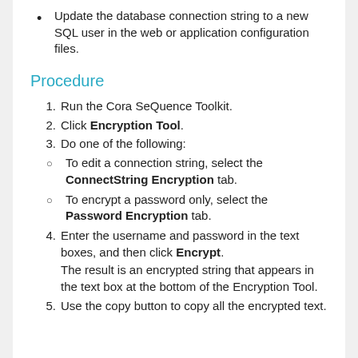Update the database connection string to a new SQL user in the web or application configuration files.
Procedure
1. Run the Cora SeQuence Toolkit.
2. Click Encryption Tool.
3. Do one of the following:
To edit a connection string, select the ConnectString Encryption tab.
To encrypt a password only, select the Password Encryption tab.
4. Enter the username and password in the text boxes, and then click Encrypt. The result is an encrypted string that appears in the text box at the bottom of the Encryption Tool.
5. Use the copy button to copy all the encrypted text.